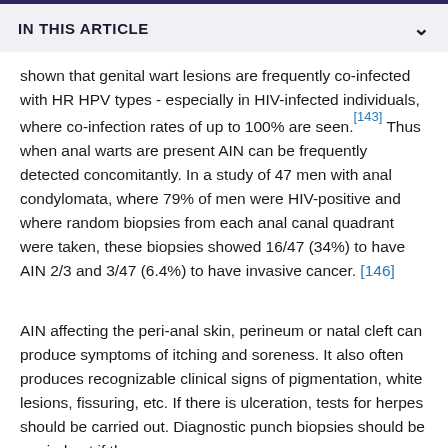IN THIS ARTICLE
shown that genital wart lesions are frequently co-infected with HR HPV types - especially in HIV-infected individuals, where co-infection rates of up to 100% are seen.[143] Thus when anal warts are present AIN can be frequently detected concomitantly. In a study of 47 men with anal condylomata, where 79% of men were HIV-positive and where random biopsies from each anal canal quadrant were taken, these biopsies showed 16/47 (34%) to have AIN 2/3 and 3/47 (6.4%) to have invasive cancer. [146]
AIN affecting the peri-anal skin, perineum or natal cleft can produce symptoms of itching and soreness. It also often produces recognizable clinical signs of pigmentation, white lesions, fissuring, etc. If there is ulceration, tests for herpes should be carried out. Diagnostic punch biopsies should be carried out if there